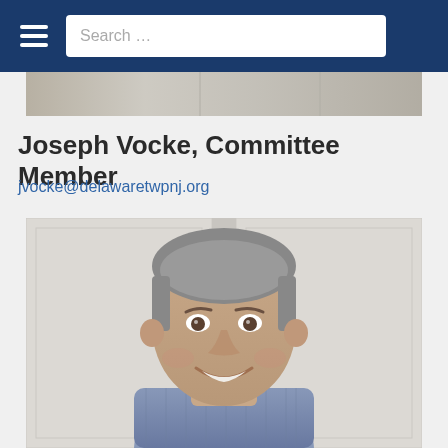Search ...
Joseph Vocke, Committee Member
jvocke@delawaretwpnj.org
[Figure (photo): Portrait photo of Joseph Vocke smiling, wearing a blue checkered shirt, standing in front of white cabinet doors]